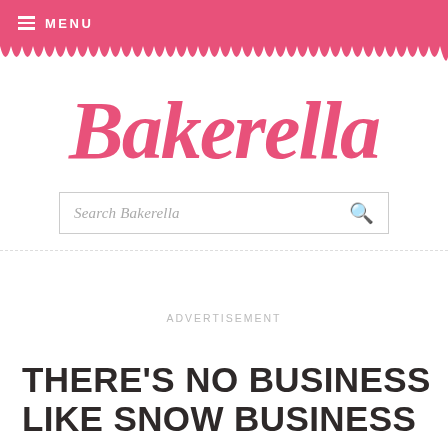MENU
[Figure (logo): Bakerella cursive script logo in pink]
Search Bakerella
ADVERTISEMENT
THERE'S NO BUSINESS LIKE SNOW BUSINESS